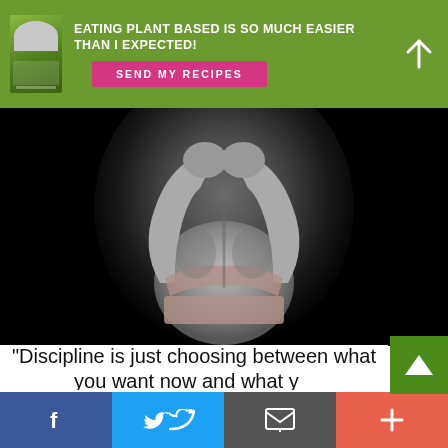[Figure (infographic): Green banner with book cover image on left, bold white text headline, pink 'SEND MY RECIPES' button, and white up-arrow on right]
EATING PLANT BASED IS SO MUCH EASIER THAN I EXPECTED!
SEND MY RECIPES
[Figure (photo): Black and white photo of muscular athlete's back, arms raised overhead, wearing sports bra, on black background]
"Discipline is just choosing between what you want now and what y... want most."
[Figure (infographic): Bottom social share bar with Facebook, Twitter, email, and plus buttons in blue, light blue, grey, and orange-red]